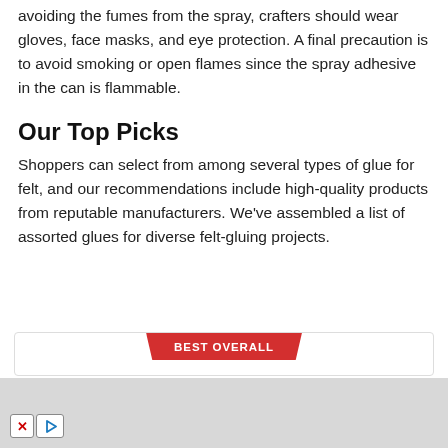avoiding the fumes from the spray, crafters should wear gloves, face masks, and eye protection. A final precaution is to avoid smoking or open flames since the spray adhesive in the can is flammable.
Our Top Picks
Shoppers can select from among several types of glue for felt, and our recommendations include high-quality products from reputable manufacturers. We've assembled a list of assorted glues for diverse felt-gluing projects.
[Figure (other): A card element with a red 'BEST OVERALL' badge at the top center]
[Figure (other): Advertisement bar at the bottom with close (X) and play button controls]